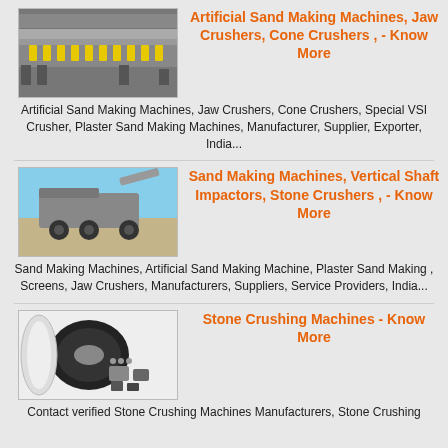[Figure (photo): Industrial conveyor/crusher machine with yellow rollers, metallic structure]
Artificial Sand Making Machines, Jaw Crushers, Cone Crushers , - Know More
Artificial Sand Making Machines, Jaw Crushers, Cone Crushers, Special VSI Crusher, Plaster Sand Making Machines, Manufacturer, Supplier, Exporter, India...
[Figure (photo): Industrial sand making machine or stone crusher mounted on truck trailer]
Sand Making Machines, Vertical Shaft Impactors, Stone Crushers , - Know More
Sand Making Machines, Artificial Sand Making Machine, Plaster Sand Making , Screens, Jaw Crushers, Manufacturers, Suppliers, Service Providers, India...
[Figure (photo): Stone crushing machine parts — rubber belts, metal components, small parts on white surface]
Stone Crushing Machines - Know More
Contact verified Stone Crushing Machines Manufacturers, Stone Crushing